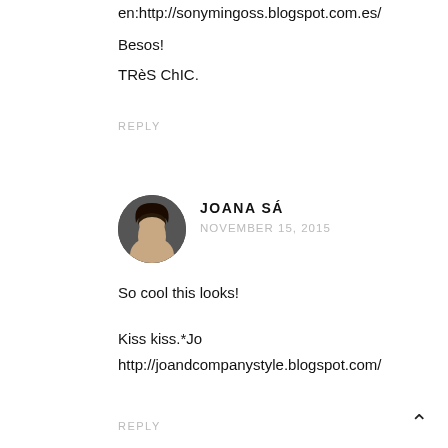en:http://sonymingoss.blogspot.com.es/
Besos!
TRèS ChIC.
REPLY
[Figure (photo): Profile photo of Joana Sá, a woman with long dark hair against a light background]
JOANA SÁ
NOVEMBER 15, 2015
So cool this looks!
Kiss kiss.*Jo
http://joandcompanystyle.blogspot.com/
REPLY